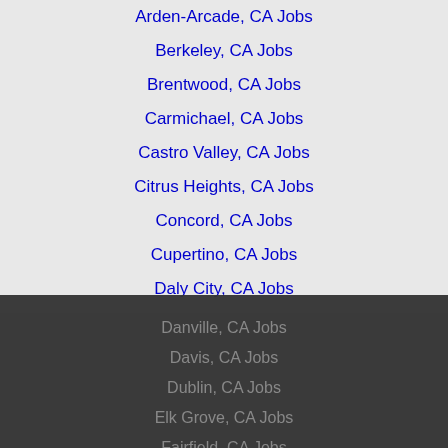Arden-Arcade, CA Jobs
Berkeley, CA Jobs
Brentwood, CA Jobs
Carmichael, CA Jobs
Castro Valley, CA Jobs
Citrus Heights, CA Jobs
Concord, CA Jobs
Cupertino, CA Jobs
Daly City, CA Jobs
Danville, CA Jobs
Davis, CA Jobs
Dublin, CA Jobs
Elk Grove, CA Jobs
Fairfield, CA Jobs
Folsom, CA Jobs
Fremont, CA Jobs
Hayward, CA Jobs
Laguna, CA Jobs
This website uses cookies to ensure you get the best experience on our website. Learn more Got it!